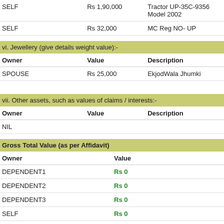| Owner | Value | Description |
| --- | --- | --- |
| SELF | Rs 1,90,000 | Tractor UP-35C-9356 Model 2002 |
| SELF | Rs 32,000 | MC Reg NO- UP |
vi. Jewellery (give details weight value):-
| Owner | Value | Description |
| --- | --- | --- |
| SPOUSE | Rs 25,000 | EkjodWala Jhumki |
vii. Other assets, such as values of claims / interests:-
| Owner | Value | Description |
| --- | --- | --- |
| NIL |  |  |
Gross Total Value (as per Affidavit)
| Owner | Value |
| --- | --- |
| DEPENDENT1 | Rs 0 |
| DEPENDENT2 | Rs 0 |
| DEPENDENT3 | Rs 0 |
| SELF | Rs 0 |
| SPOUSE | Rs 0 |